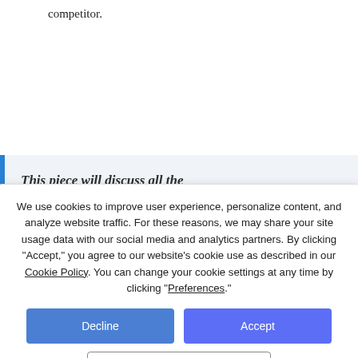competitor.
This piece will discuss all the
mortgage lenders' pricing decisions
How Mortgage Lenders Influence Mortgage Prices
Mortgage Rate Runup: Built Up Immunity
Mortgage Rates in a Teetering Economy
Other Factors Affecting Mortgage Pricing
The Mortgage-Backed Securities (MBS) Market
We use cookies to improve user experience, personalize content, and analyze website traffic. For these reasons, we may share your site usage data with our social media and analytics partners. By clicking “Accept,” you agree to our website’s cookie use as described in our Cookie Policy. You can change your cookie settings at any time by clicking “Preferences.”